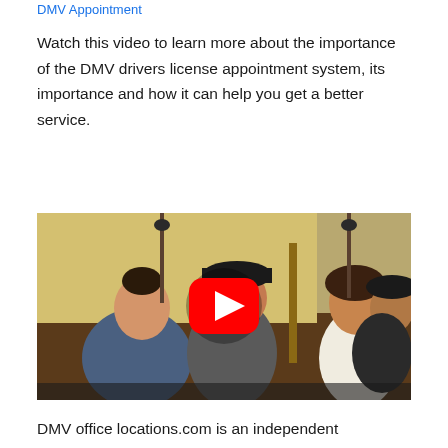DMV Appointment
Watch this video to learn more about the importance of the DMV drivers license appointment system, its importance and how it can help you get a better service.
[Figure (photo): YouTube video thumbnail showing people at a DMV office counter with a red YouTube play button overlay in the center.]
DMV office locations.com is an independent